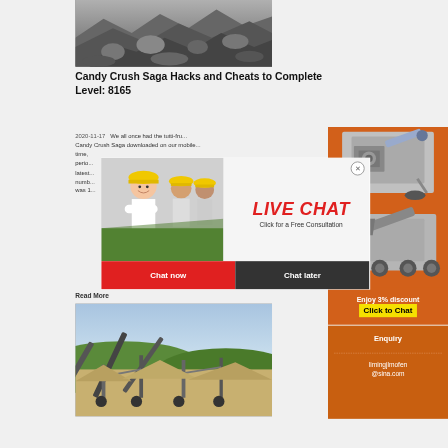[Figure (photo): Aerial or close-up photo of crushed rock/gravel pile in black and white tones]
Candy Crush Saga Hacks and Cheats to Complete Level: 8165
2020-11-17   We all once had the tutti-fru... Candy Crush Saga downloaded on our mobile... time, ... period... latest... numb... was 1...
[Figure (photo): Live Chat popup overlay showing workers in hard hats, with LIVE CHAT heading, Click for a Free Consultation text, Chat now and Chat later buttons]
[Figure (photo): Orange sidebar banner showing industrial crusher/mining machinery]
Enjoy 3% discount
Click to Chat
Enquiry
limingjlmofen@sina.com
Read More
[Figure (photo): Photo of industrial mining/crushing equipment at a quarry site]